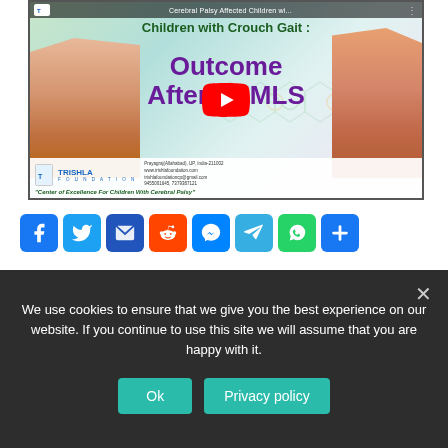[Figure (screenshot): YouTube video thumbnail for Trishla Foundation showing children with crouch gait and text 'Children with Crouch Gait: Outcome After SEMLS' with a red YouTube play button overlay. Bottom shows Trishla Foundation logo and contact info. Footer text: Center of Excellence For Children With Cerebral Palsy.]
[Figure (infographic): Social media share buttons row: Facebook (blue f), Twitter (blue bird), Email (blue envelope), Reddit (orange alien), Messenger (blue lightning bolt), Telegram (blue paper plane), WhatsApp (green phone), and a blue More (+) button.]
We use cookies to ensure that we give you the best experience on our website. If you continue to use this site we will assume that you are happy with it.
Ok
Privacy policy